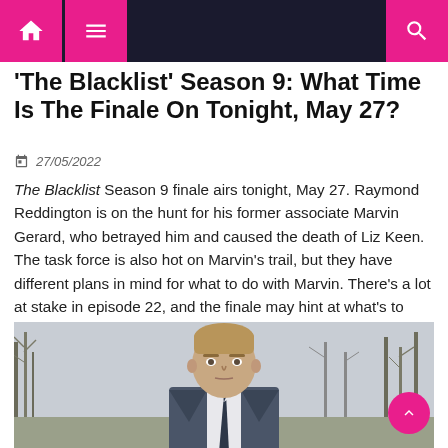Navigation bar with home, menu, and search icons
'The Blacklist' Season 9: What Time Is The Finale On Tonight, May 27?
27/05/2022
The Blacklist Season 9 finale airs tonight, May 27. Raymond Reddington is on the hunt for his former associate Marvin Gerard, who betrayed him and caused the death of Liz Keen. The task force is also hot on Marvin's trail, but they have different plans in mind for what to do with Marvin. There's a lot at stake in episode 22, and the finale may hint at what's to come when the show returns with season 10.
[Figure (photo): A man with short blonde hair in an outdoor setting with bare trees in the background, wearing a suit and tie, looking serious.]